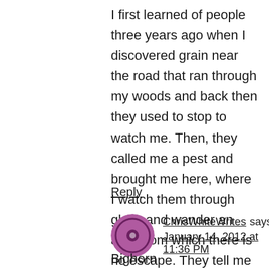I first learned of people three years ago when I discovered grain near the road that ran through my woods and back then they used to stop to watch me. Then, they called me a pest and brought me here, where I watch them through glass and wander an area from which there is no escape. They tell me I'm one of the lucky ones, but my cage tells me otherwise.
Reply
ChrisWhiteWrites says: January 14, 2012 at 11:36 PM
Bighorn